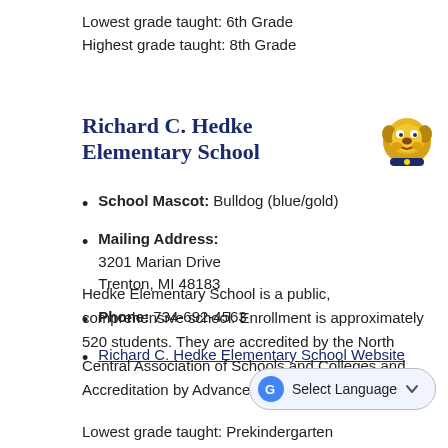Lowest grade taught: 6th Grade
Highest grade taught: 8th Grade
Richard C. Hedke Elementary School
[Figure (illustration): Bulldog mascot image — gold-colored bulldog head logo]
School Mascot: Bulldog (blue/gold)
Mailing Address:
3201 Marian Drive
Trenton, MI 48183
Phone: 734-692-4563
Richard C. Hedke Elementary School Website
Hedke Elementary School is a public, comprehensive school. Enrollment is approximately 520 students. They are accredited by the North Central Association of Schools and Colleges and Accreditation by Advanced Ed.
Lowest grade taught: Prekindergarten